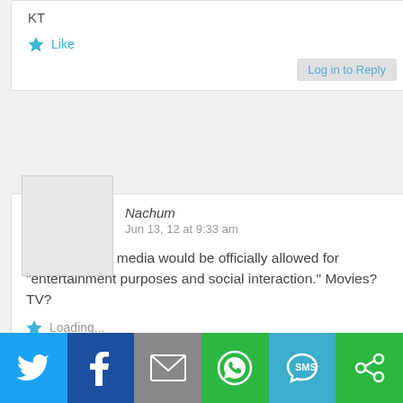KT
Like
Log in to Reply
Nachum
Jun 13, 12 at 9:33 am
I wonder what media would be officially allowed for “entertainment purposes and social interaction.” Movies? TV?
Loading...
Log in to Reply
Michael V.
Jun 13, 12 at 9:38 am
Is that legal, given the copyright notice on the bottom of the website?